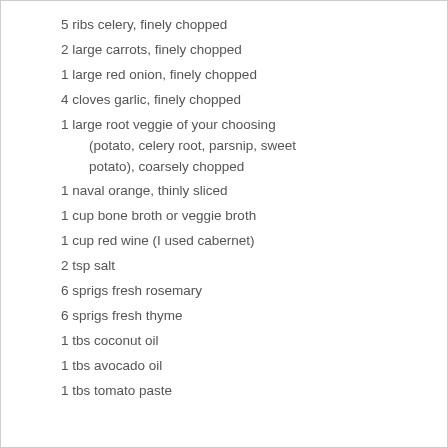5 ribs celery, finely chopped
2 large carrots, finely chopped
1 large red onion, finely chopped
4 cloves garlic, finely chopped
1 large root veggie of your choosing (potato, celery root, parsnip, sweet potato), coarsely chopped
1 naval orange, thinly sliced
1 cup bone broth or veggie broth
1 cup red wine (I used cabernet)
2 tsp salt
6 sprigs fresh rosemary
6 sprigs fresh thyme
1 tbs coconut oil
1 tbs avocado oil
1 tbs tomato paste